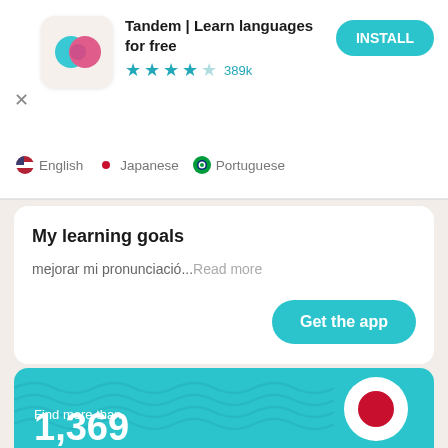[Figure (screenshot): Tandem app advertisement banner with logo icon, app name, star rating, and INSTALL button]
🇺🇸 English  🔴 Japanese  🇧🇷 Portuguese
My learning goals
mejorar mi pronunciació...Read more
Get the app
Find more than
1,369